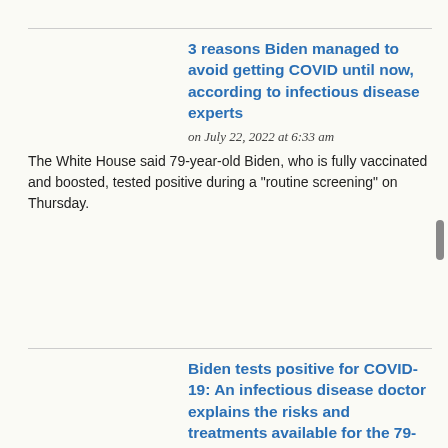3 reasons Biden managed to avoid getting COVID until now, according to infectious disease experts
on July 22, 2022 at 6:33 am
The White House said 79-year-old Biden, who is fully vaccinated and boosted, tested positive during a "routine screening" on Thursday.
Biden tests positive for COVID-19: An infectious disease doctor explains the risks and treatments available for the 79-year-old president
on July 21, 2022 at 3:44 pm
President Joe Biden tested